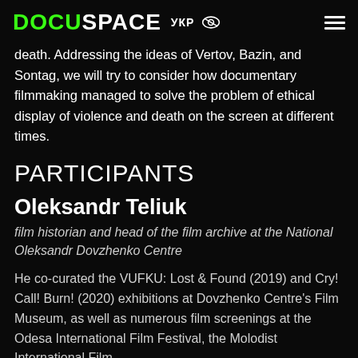DOCUSPACE УКР
death. Addressing the ideas of Vertov, Bazin, and Sontag, we will try to consider how documentary filmmaking managed to solve the problem of ethical display of violence and death on the screen at different times.
PARTICIPANTS
Oleksandr Teliuk
film historian and head of the film archive at the National Oleksandr Dovzhenko Centre
He co-curated the VUFKU: Lost & Found (2019) and Cry! Call! Burn! (2020) exhibitions at Dovzhenko Centre's Film Museum, as well as numerous film screenings at the Odesa International Film Festival, the Molodist International Film